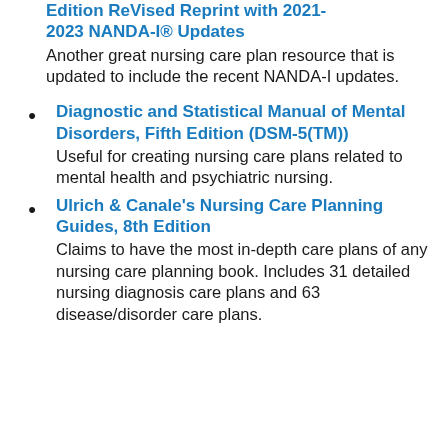Edition Revised Reprint with 2021-2023 NANDA-I® Updates — Another great nursing care plan resource that is updated to include the recent NANDA-I updates.
Diagnostic and Statistical Manual of Mental Disorders, Fifth Edition (DSM-5(TM)) — Useful for creating nursing care plans related to mental health and psychiatric nursing.
Ulrich & Canale's Nursing Care Planning Guides, 8th Edition — Claims to have the most in-depth care plans of any nursing care planning book. Includes 31 detailed nursing diagnosis care plans and 63 disease/disorder care plans.